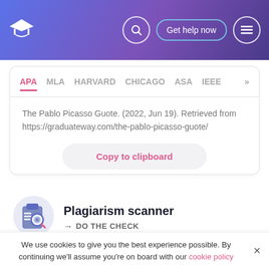[Figure (screenshot): Website header with gradient purple/blue background, graduation cap logo on left, search icon circle, 'Get help now' button, and hamburger menu icon on right]
APA  MLA  HARVARD  CHICAGO  ASA  IEEE  >>
The Pablo Picasso Guote. (2022, Jun 19). Retrieved from https://graduateway.com/the-pablo-picasso-guote/
Copy to clipboard
Plagiarism scanner
→ DO THE CHECK
We use cookies to give you the best experience possible. By continuing we'll assume you're on board with our cookie policy